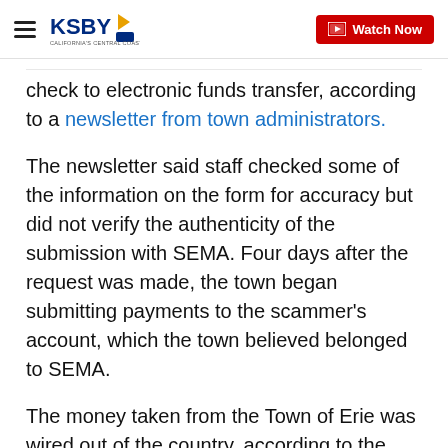KSBY - Watch Now
check to electronic funds transfer, according to a newsletter from town administrators.
The newsletter said staff checked some of the information on the form for accuracy but did not verify the authenticity of the submission with SEMA. Four days after the request was made, the town began submitting payments to the scammer’s account, which the town believed belonged to SEMA.
The money taken from the Town of Erie was wired out of the country, according to the newsletter.
The town was notified of the fraud on Nov. 5, and an investigation was opened with the Erie Police Department and the Federal Bureau of Investigation